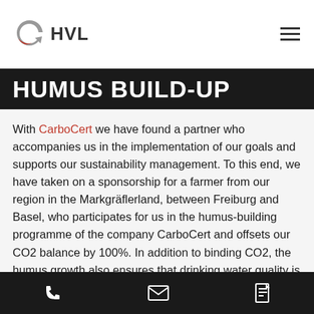HVL
HUMUS BUILD-UP
With CarboCert we have found a partner who accompanies us in the implementation of our goals and supports our sustainability management. To this end, we have taken on a sponsorship for a farmer from our region in the Markgräflerland, between Freiburg and Basel, who participates for us in the humus-building programme of the company CarboCert and offsets our CO2 balance by 100%. In addition to binding CO2, the humus growth also ensures that drinking water quality is improved, chemical fertilisers and pesticides are reduced,
Phone | Email | Document